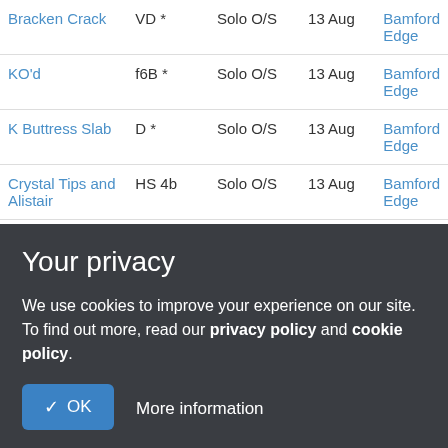| Name | Grade | Style | Date | Crag |
| --- | --- | --- | --- | --- |
| Bracken Crack | VD * | Solo O/S | 13 Aug | Bamford Edge |
| KO'd | f6B * | Solo O/S | 13 Aug | Bamford Edge |
| K Buttress Slab | D * | Solo O/S | 13 Aug | Bamford Edge |
| Crystal Tips and Alistair | HS 4b | Solo O/S | 13 Aug | Bamford Edge |
| K-PAX | HS 4c | Solo O/S | 13 Aug | Bamford Edge |
| K'kin | HS 4c | Solo O/S | 13 Aug | Bamford Edge |
| Kin 'eck | S | Solo O/S | 13 Aug | Bamford Edge |
Your privacy
We use cookies to improve your experience on our site. To find out more, read our privacy policy and cookie policy.